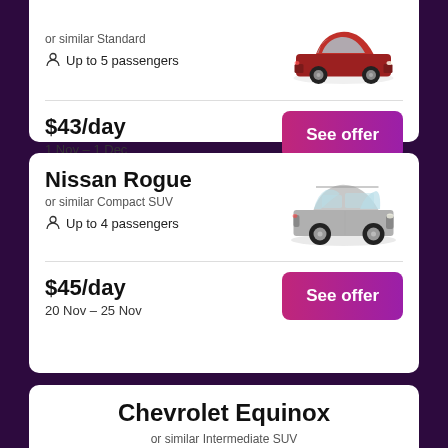or similar Standard
Up to 5 passengers
$43/day
1 Nov – 1 Dec
See offer
Nissan Rogue
or similar Compact SUV
Up to 4 passengers
$45/day
20 Nov – 25 Nov
See offer
Chevrolet Equinox
or similar Intermediate SUV
Up to 5 passengers